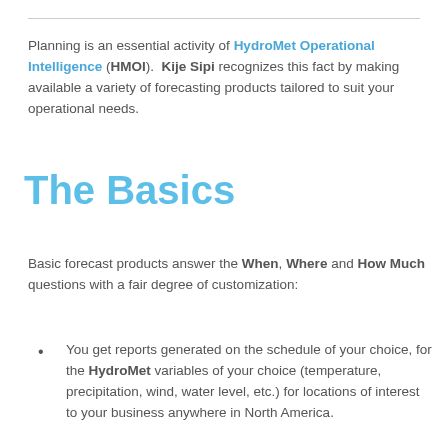Planning is an essential activity of HydroMet Operational Intelligence (HMOI).  Kije Sipi recognizes this fact by making available a variety of forecasting products tailored to suit your operational needs.
The Basics
Basic forecast products answer the When, Where and How Much questions with a fair degree of customization:
You get reports generated on the schedule of your choice, for the HydroMet variables of your choice (temperature, precipitation, wind, water level, etc.) for locations of interest to your business anywhere in North America.